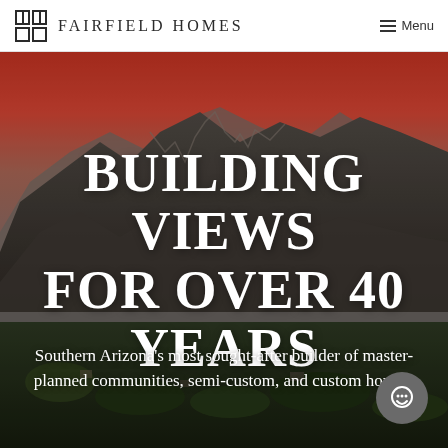FAIRFIELD HOMES | Menu
[Figure (photo): Aerial/landscape photo of a desert mountain range in Southern Arizona at sunset. Red-orange sky behind rocky mountains with desert and residential valley below.]
BUILDING VIEWS FOR OVER 40 YEARS
Southern Arizona's most sought-after builder of master-planned communities, semi-custom, and custom homes.